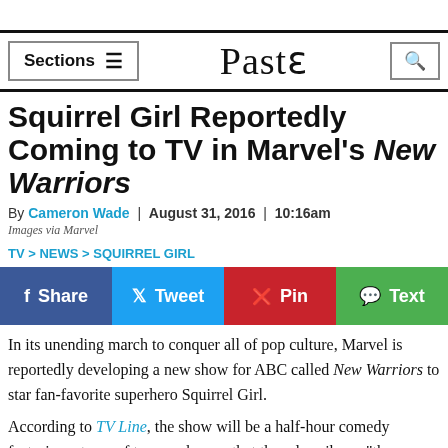Sections ≡   Paste   🔍
Squirrel Girl Reportedly Coming to TV in Marvel's New Warriors
By Cameron Wade | August 31, 2016 | 10:16am
Images via Marvel
TV > NEWS > SQUIRREL GIRL
[Figure (infographic): Social share buttons: Share (Facebook, blue), Tweet (Twitter, light blue), Pin (Pinterest, red), Text (green)]
In its unending march to conquer all of pop culture, Marvel is reportedly developing a new show for ABC called New Warriors to star fan-favorite superhero Squirrel Girl.
According to TV Line, the show will be a half-hour comedy featuring a team of teenage heroes that they describe as "the